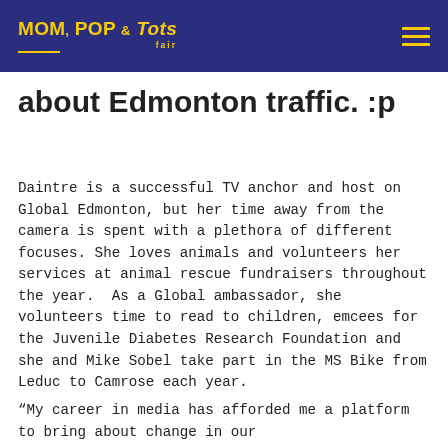MOM, POP & Tots fair
about Edmonton traffic. :p
Daintre is a successful TV anchor and host on Global Edmonton, but her time away from the camera is spent with a plethora of different focuses. She loves animals and volunteers her services at animal rescue fundraisers throughout the year.  As a Global ambassador, she volunteers time to read to children, emcees for the Juvenile Diabetes Research Foundation and she and Mike Sobel take part in the MS Bike from Leduc to Camrose each year.
“My career in media has afforded me a platform to bring about change in our